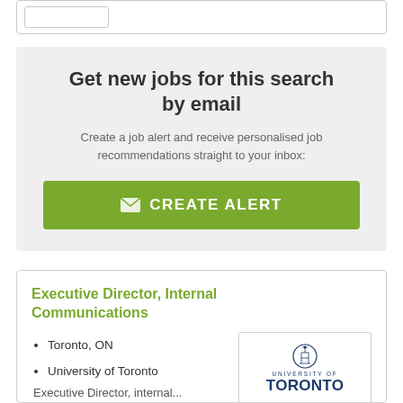Get new jobs for this search by email
Create a job alert and receive personalised job recommendations straight to your inbox:
CREATE ALERT
Executive Director, Internal Communications
Toronto, ON
University of Toronto
[Figure (logo): University of Toronto logo with crest and text]
Executive Director, internal...